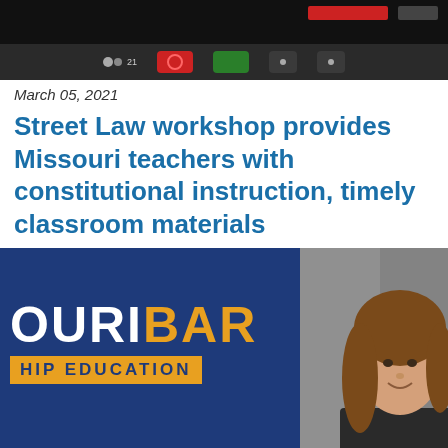[Figure (screenshot): Screenshot of a video conference (Zoom) interface showing the dark toolbar at bottom with microphone, video, participants, chat and other control buttons including a red end button and green button.]
March 05, 2021
Street Law workshop provides Missouri teachers with constitutional instruction, timely classroom materials
[Figure (photo): Photo showing a Missouri Bar Law-related Education logo on a dark navy background on the left side, with text 'OURIBAR' in white and 'BAR' in orange, and 'HIP EDUCATION' on an orange band. On the right side is a woman with long brown hair smiling, shown from shoulders up against a grey background.]